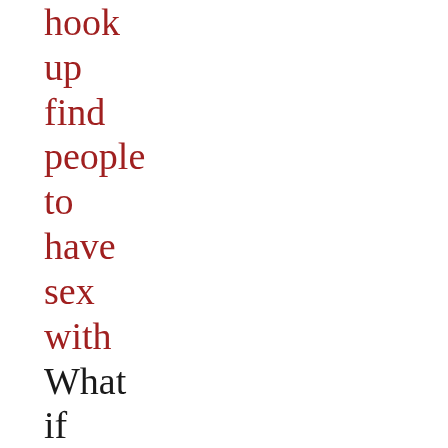hook up find people to have sex with What if youve moved on from your past, including how much well-meaning but crap advice youll